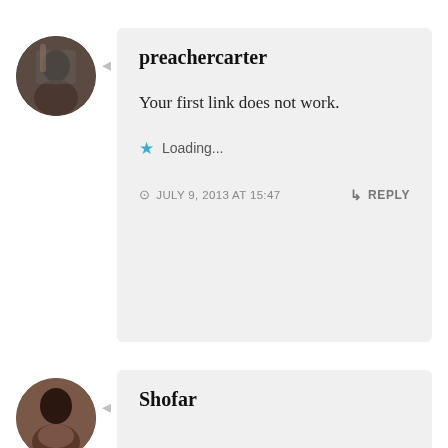[Figure (photo): Circular avatar photo of preachercarter, a man in a dark jacket]
preachercarter
Your first link does not work.
Loading...
JULY 9, 2013 AT 15:47
REPLY
[Figure (photo): Circular avatar photo of Shofar, a woman smiling]
Shofar